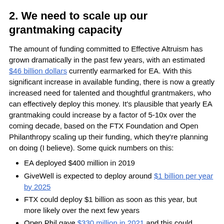2. We need to scale up our grantmaking capacity
The amount of funding committed to Effective Altruism has grown dramatically in the past few years, with an estimated $46 billion dollars currently earmarked for EA. With this significant increase in available funding, there is now a greatly increased need for talented and thoughtful grantmakers, who can effectively deploy this money. It's plausible that yearly EA grantmaking could increase by a factor of 5-10x over the coming decade, based on the FTX Foundation and Open Philanthropy scaling up their funding, which they're planning on doing (I believe). Some quick numbers on this:
EA deployed $400 million in 2019
GiveWell is expected to deploy around $1 billion per year by 2025
FTX could deploy $1 billion as soon as this year, but more likely over the next few years
Open Phil gave $330 million in 2021 and this could